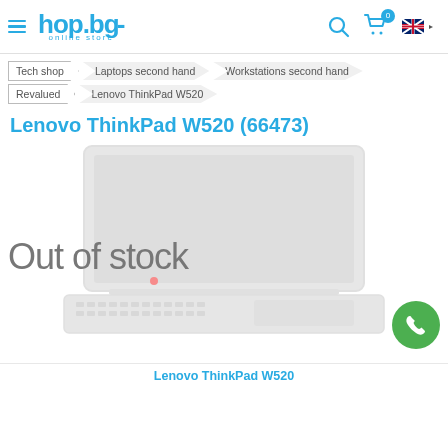[Figure (screenshot): hop.bg online store header with logo, hamburger menu, search icon, cart icon with badge 0, and language flag]
Tech shop
Laptops second hand
Workstations second hand
Revalued
Lenovo ThinkPad W520
Lenovo ThinkPad W520 (66473)
[Figure (photo): Lenovo ThinkPad W520 laptop shown open, faded/greyed out, with 'Out of stock' text overlay and a green phone button on the right]
Lenovo ThinkPad W520